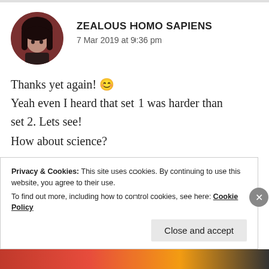[Figure (photo): Circular avatar photo of a dark-haired anime-style character against a dark reddish-brown background]
ZEALOUS HOMO SAPIENS
7 Mar 2019 at 9:36 pm
Thanks yet again! 😊
Yeah even I heard that set 1 was harder than set 2. Lets see!
How about science?
★ Liked by 1 person
Privacy & Cookies: This site uses cookies. By continuing to use this website, you agree to their use.
To find out more, including how to control cookies, see here: Cookie Policy
Close and accept